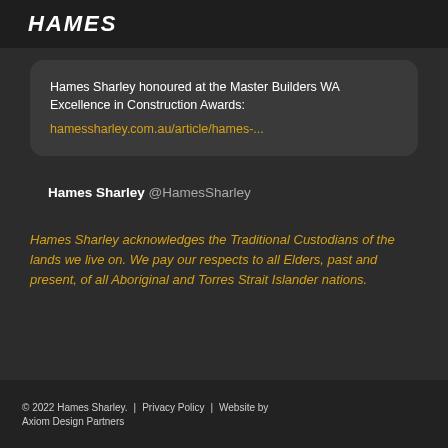Hames
Hames Sharley honoured at the Master Builders WA Excellence in Construction Awards: hamessharley.com.au/article/hames-...
Hames Sharley @HamesSharley
Hames Sharley acknowledges the Traditional Custodians of the lands we live on. We pay our respects to all Elders, past and present, of all Aboriginal and Torres Strait Islander nations.
© 2022 Hames Sharley.  |  Privacy Policy  |  Website by Axiom Design Partners